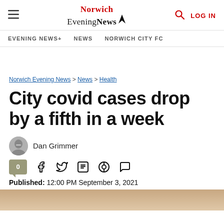Norwich Evening News — LOG IN
EVENING NEWS+ | NEWS | NORWICH CITY FC
Norwich Evening News > News > Health
City covid cases drop by a fifth in a week
Dan Grimmer
Published: 12:00 PM September 3, 2021